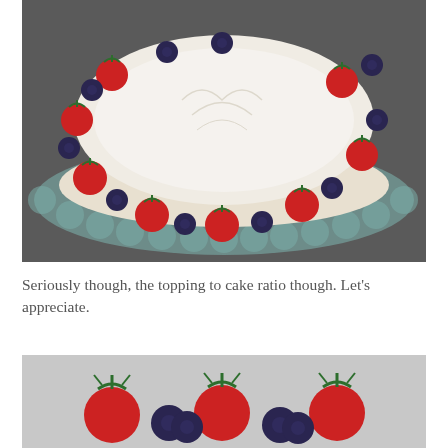[Figure (photo): Top-down view of a round white-frosted cake on a scalloped glass cake stand. The cake is decorated with a ring of alternating strawberries and blueberries around the edge. The frosting on top shows a subtle impressed design. The background is dark grey.]
Seriously though, the topping to cake ratio though. Let's appreciate.
[Figure (photo): Close-up photo of strawberries and blueberries arranged together on a light grey background, partially cropped at the bottom of the page.]